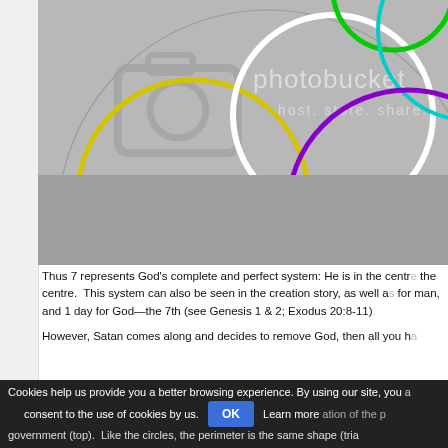[Figure (illustration): Photobucket placeholder image showing overlapping colored circles (yellow, white, green, cyan, purple, red) on a gray background with a camera icon and 'photobucket host. store. share.' watermark text.]
Thus 7 represents God's complete and perfect system: He is in the centre. This system can also be seen in the creation story, as well as for man, and 1 day for God—the 7th (see Genesis 1 & 2; Exodus 20:8-11).
However, Satan comes along and decides to remove God, then all you h... government (top). Like the circles, the perimeter is the same shape (tria...
Cookies help us provide you a better browsing experience. By using our site, you consent to the use of cookies by us. OK Learn more ation of the p...